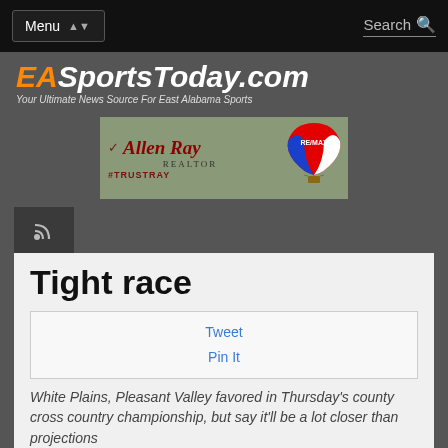Menu | Search
EASportsToday.com — Your Ultimate News Source For East Alabama Sports
[Figure (illustration): Allen Ray Realtor RE/MAX advertisement banner with script text and hot air balloon logo]
[Figure (logo): RSS feed icon in dark square]
Tight race
Tweet
Pin It
White Plains, Pleasant Valley favored in Thursday's county cross country championship, but say it'll be a lot closer than projections